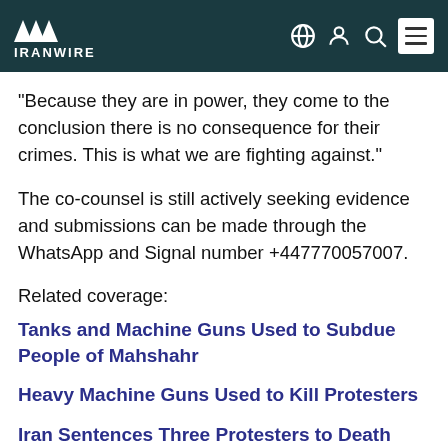IranWire
“Because they are in power, they come to the conclusion there is no consequence for their crimes. This is what we are fighting against.”
The co-counsel is still actively seeking evidence and submissions can be made through the WhatsApp and Signal number +447770057007.
Related coverage:
Tanks and Machine Guns Used to Subdue People of Mahshahr
Heavy Machine Guns Used to Kill Protesters
Iran Sentences Three Protesters to Death
They Killed My Son, I’ll Continue to Fight for His